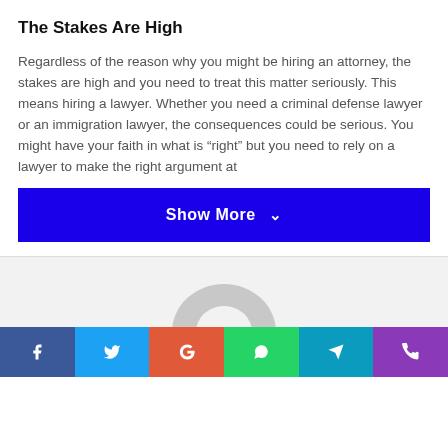The Stakes Are High
Regardless of the reason why you might be hiring an attorney, the stakes are high and you need to treat this matter seriously. This means hiring a lawyer. Whether you need a criminal defense lawyer or an immigration lawyer, the consequences could be serious. You might have your faith in what is “right” but you need to rely on a lawyer to make the right argument at
[Figure (other): Blue 'Show More' button with chevron icon]
[Figure (other): Grey circular avatar/profile placeholder icon]
[Figure (other): Social sharing bar with Facebook, Twitter, Google, WhatsApp, Telegram, and phone icons]